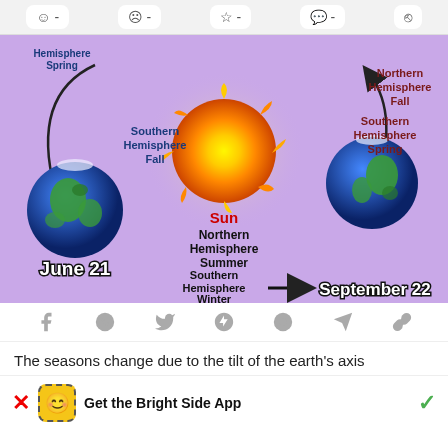[Figure (infographic): Diagram showing Earth's orbit around the Sun illustrating seasons in Northern and Southern hemispheres. Labels: Northern Hemisphere Fall, Southern Hemisphere Spring (top right), Southern Hemisphere Fall (left), Northern Hemisphere Summer / Southern Hemisphere Winter (bottom center), June 21 (bottom left), September 22 (bottom right), Sun (center). Earth globes shown at left and right positions with orbital arrows.]
[Figure (screenshot): Social sharing bar with icons: Facebook, WhatsApp, Twitter, Pinterest, Messenger, Telegram, link]
The seasons change due to the tilt of the earth's axis
Get the Bright Side App